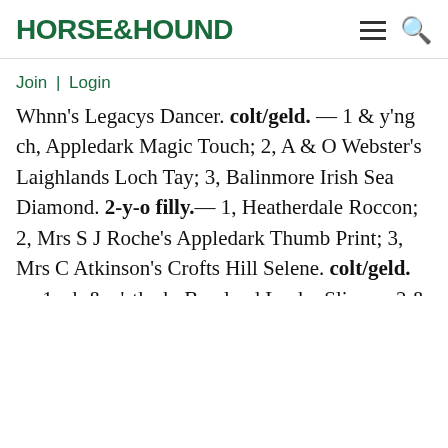HORSE&HOUND
Join | Login
Whnn's Legacys Dancer. colt/geld. — 1 & y'ng ch, Appledark Magic Touch; 2, A & O Webster's Laighlands Loch Tay; 3, Balinmore Irish Sea Diamond. 2-y-o filly.— 1, Heatherdale Roccon; 2, Mrs S J Roche's Appledark Thumb Print; 3, Mrs C Atkinson's Crofts Hill Selene. colt/geld. — 1, ch & y'stk ch, Bowland Lucky Slipper; 2 & res, Kilpeck Silver Sorcerer; 3, Mr M Reeves' Appledark Touch Wood. 3-y-o filly/geld.— 1, L Coates' Balinmore Rebellion; 2, Toux Seamus; 3, Chaseabbard High Ranger. ID cup.